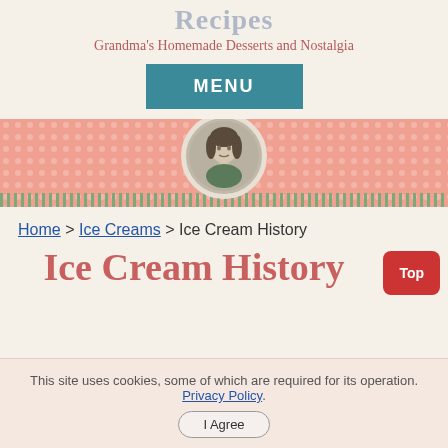Recipes
Grandma's Homemade Desserts and Nostalgia
[Figure (other): Teal MENU button]
[Figure (photo): Banner with pink dotted background, green stripe at bottom, and circular portrait of a woman in the center]
Home > Ice Creams > Ice Cream History
Ice Cream History
This site uses cookies, some of which are required for its operation. Privacy Policy.
I Agree